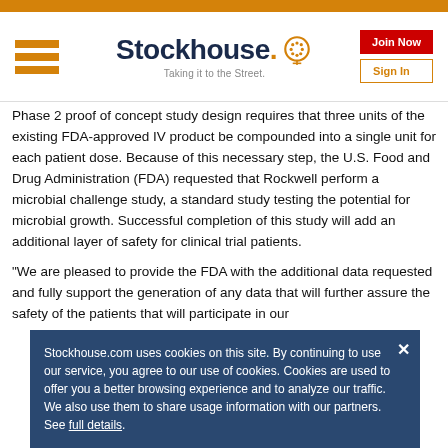Stockhouse — Taking it to the Street.
Phase 2 proof of concept study design requires that three units of the existing FDA-approved IV product be compounded into a single unit for each patient dose. Because of this necessary step, the U.S. Food and Drug Administration (FDA) requested that Rockwell perform a microbial challenge study, a standard study testing the potential for microbial growth. Successful completion of this study will add an additional layer of safety for clinical trial patients.
"We are pleased to provide the FDA with the additional data requested and fully support the generation of any data that will further assure the safety of the patients that will participate in our st...
Stockhouse.com uses cookies on this site. By continuing to use our service, you agree to our use of cookies. Cookies are used to offer you a better browsing experience and to analyze our traffic. We also use them to share usage information with our partners. See full details.